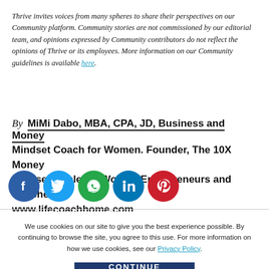Thrive invites voices from many spheres to share their perspectives on our Community platform. Community stories are not commissioned by our editorial team, and opinions expressed by Community contributors do not reflect the opinions of Thrive or its employees. More information on our Community guidelines is available here.
By MiMi Dabo, MBA, CPA, JD, Business and Money Mindset Coach for Women. Founder, The 10X Money Mindset Circle for Women Entrepreneurs and Coaches. www.lifecoachhome.com
[Figure (other): Row of five social media share icon circles: Facebook (blue), Twitter (light blue), WhatsApp (green), LinkedIn (blue), Pinterest (red)]
We use cookies on our site to give you the best experience possible. By continuing to browse the site, you agree to this use. For more information on how we use cookies, see our Privacy Policy.
CONTINUE